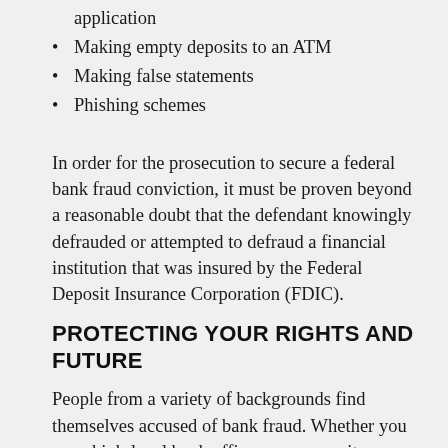application
Making empty deposits to an ATM
Making false statements
Phishing schemes
In order for the prosecution to secure a federal bank fraud conviction, it must be proven beyond a reasonable doubt that the defendant knowingly defrauded or attempted to defraud a financial institution that was insured by the Federal Deposit Insurance Corporation (FDIC).
PROTECTING YOUR RIGHTS AND FUTURE
People from a variety of backgrounds find themselves accused of bank fraud. Whether you are a high-level bank officer, a community banker, a loan officer, a loan applicant or an individual suspected